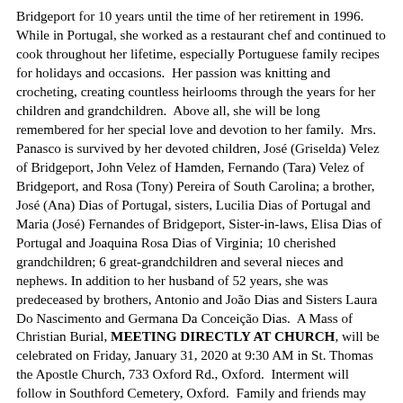Bridgeport for 10 years until the time of her retirement in 1996. While in Portugal, she worked as a restaurant chef and continued to cook throughout her lifetime, especially Portuguese family recipes for holidays and occasions.  Her passion was knitting and crocheting, creating countless heirlooms through the years for her children and grandchildren.  Above all, she will be long remembered for her special love and devotion to her family.  Mrs. Panasco is survived by her devoted children, José (Griselda) Velez of Bridgeport, John Velez of Hamden, Fernando (Tara) Velez of Bridgeport, and Rosa (Tony) Pereira of South Carolina; a brother, José (Ana) Dias of Portugal, sisters, Lucilia Dias of Portugal and Maria (José) Fernandes of Bridgeport, Sister-in-laws, Elisa Dias of Portugal and Joaquina Rosa Dias of Virginia; 10 cherished grandchildren; 6 great-grandchildren and several nieces and nephews. In addition to her husband of 52 years, she was predeceased by brothers, Antonio and João Dias and Sisters Laura Do Nascimento and Germana Da Conceição Dias.  A Mass of Christian Burial, MEETING DIRECTLY AT CHURCH, will be celebrated on Friday, January 31, 2020 at 9:30 AM in St. Thomas the Apostle Church, 733 Oxford Rd., Oxford.  Interment will follow in Southford Cemetery, Oxford.  Family and friends may call on Thursday, January 30, 2020 from 4:00 to 7:00 PM in the Wakelee Memorial Funeral Home, 167 Wakelee Ave., Ansonia.  Online condolences may be made at www.wakeleememorial.com.